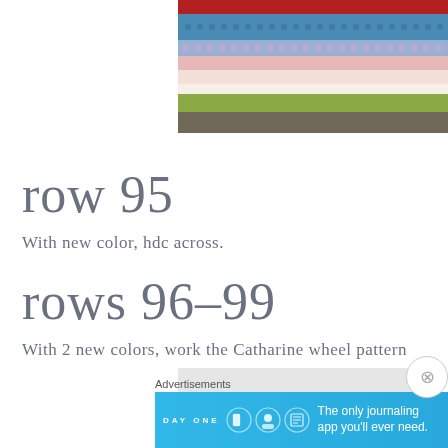[Figure (photo): Cropped photo of colorful striped crochet blanket edge with multiple color bands including red, blue, purple, pink, and green stripes]
row 95
With new color, hdc across.
rows 96-99
With 2 new colors, work the Catharine wheel pattern
[Figure (photo): Blurred/partially visible photo below rows 96-99 text]
Advertisements
[Figure (other): Day One journaling app advertisement banner with blue background, app icons, and text: The only journaling app you'll ever need.]